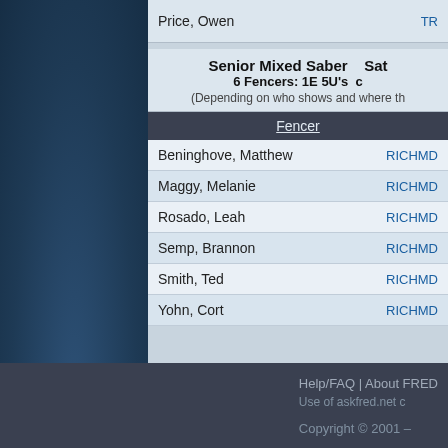| Fencer |  |
| --- | --- |
| Price, Owen | TR... |
| Beninghove, Matthew | RICHMD... |
| Maggy, Melanie | RICHMD... |
| Rosado, Leah | RICHMD... |
| Semp, Brannon | RICHMD... |
| Smith, Ted | RICHMD... |
| Yohn, Cort | RICHMD... |
Senior Mixed Saber   Sat
6 Fencers: 1E 5U's  c
(Depending on who shows and where th
Help/FAQ | About FRED | Use of askfred.net c | Copyright © 2001 -